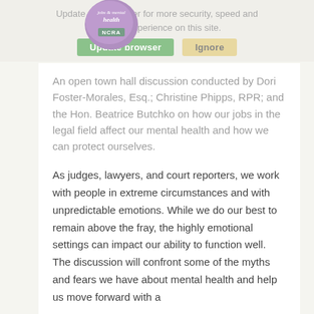[Figure (logo): NCRA Jobs and Mental Health logo — purple circle with cursive 'jobs & mental health' text and NCRA wordmark]
Update your browser for more security, speed and the best experience on this site.
Update browser   Ignore
An open town hall discussion conducted by Dori Foster-Morales, Esq.; Christine Phipps, RPR; and the Hon. Beatrice Butchko on how our jobs in the legal field affect our mental health and how we can protect ourselves.
As judges, lawyers, and court reporters, we work with people in extreme circumstances and with unpredictable emotions. While we do our best to remain above the fray, the highly emotional settings can impact our ability to function well. The discussion will confront some of the myths and fears we have about mental health and help us move forward with a